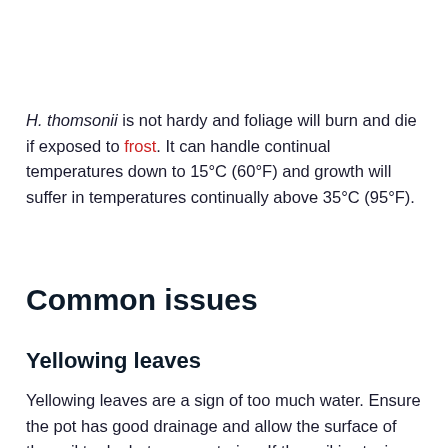H. thomsonii is not hardy and foliage will burn and die if exposed to frost. It can handle continual temperatures down to 15°C (60°F) and growth will suffer in temperatures continually above 35°C (95°F).
Common issues
Yellowing leaves
Yellowing leaves are a sign of too much water. Ensure the pot has good drainage and allow the surface of the soil to dry between watering. If the soil is staying too moist for too long, consider repotting into a mix which dries more quickly - see hoya soil.